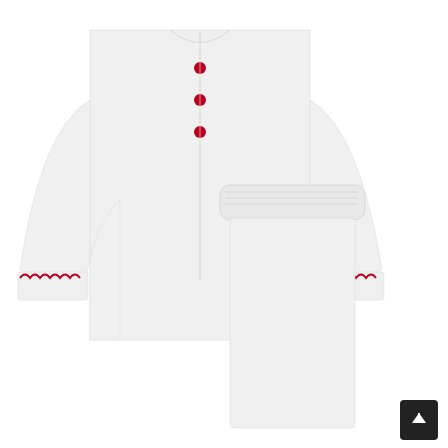[Figure (photo): White pajama set (long-sleeve top and pants) with red scallop-edge trim on cuffs and red buttons on the shirt front, laid flat on white background]